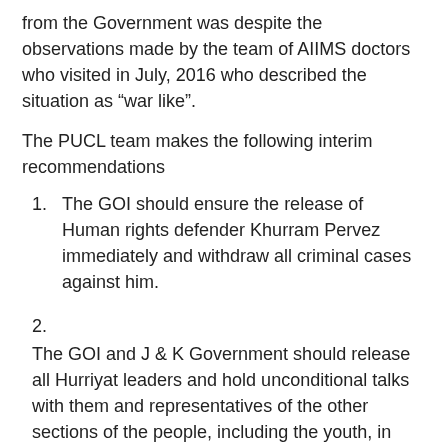from the Government was despite the observations made by the team of AIIMS doctors who visited in July, 2016 who described the situation as “war like”.
The PUCL team makes the following interim recommendations
1. The GOI should ensure the release of Human rights defender Khurram Pervez immediately and withdraw all criminal cases against him.
2. The GOI and J & K Government should release all Hurriyat leaders and hold unconditional talks with them and representatives of the other sections of the people, including the youth, in order to break this impasse and